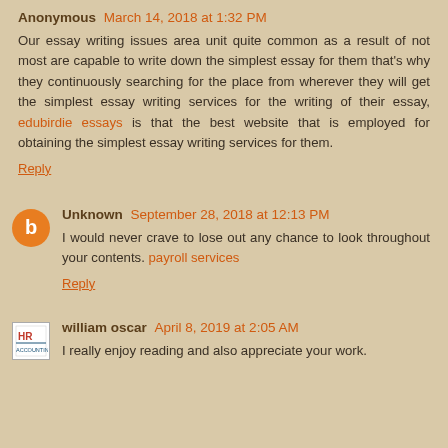Anonymous March 14, 2018 at 1:32 PM
Our essay writing issues area unit quite common as a result of not most are capable to write down the simplest essay for them that's why they continuously searching for the place from wherever they will get the simplest essay writing services for the writing of their essay, edubirdie essays is that the best website that is employed for obtaining the simplest essay writing services for them.
Reply
Unknown September 28, 2018 at 12:13 PM
I would never crave to lose out any chance to look throughout your contents. payroll services
Reply
william oscar April 8, 2019 at 2:05 AM
I really enjoy reading and also appreciate your work.